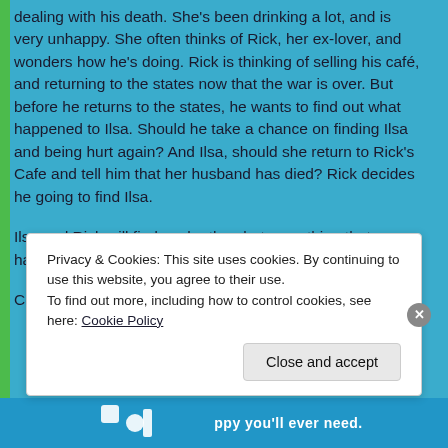dealing with his death.  She's been drinking a lot, and is very unhappy.  She often thinks of Rick, her ex-lover, and wonders  how he's doing.  Rick is thinking of selling his café, and returning to the states now that the war is over.  But before he returns to the states, he wants to find out what happened to Ilsa.  Should he take a chance on finding Ilsa and being hurt again?  And Ilsa, should she return to Rick's Cafe and tell him that her husband has died?  Rick decides he going to find Ilsa.
Ilsa and Rick will find each other, but something that happened will keep them apart.
Countdown:  75 blogs to write.
Privacy & Cookies: This site uses cookies. By continuing to use this website, you agree to their use.
To find out more, including how to control cookies, see here: Cookie Policy
Close and accept